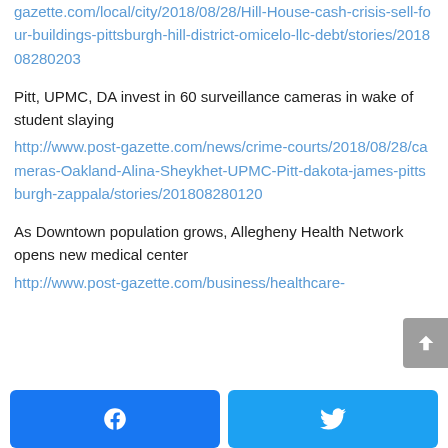gazette.com/local/city/2018/08/28/Hill-House-cash-crisis-sell-four-buildings-pittsburgh-hill-district-omicelo-llc-debt/stories/201808280203
Pitt, UPMC, DA invest in 60 surveillance cameras in wake of student slaying
http://www.post-gazette.com/news/crime-courts/2018/08/28/cameras-Oakland-Alina-Sheykhet-UPMC-Pitt-dakota-james-pittsburgh-zappala/stories/201808280120
As Downtown population grows, Allegheny Health Network opens new medical center
http://www.post-gazette.com/business/healthcare-
[Figure (other): Scroll-to-top button (grey arrow up)]
[Figure (other): Facebook share button (blue with Facebook logo)]
[Figure (other): Twitter share button (blue with Twitter bird logo)]